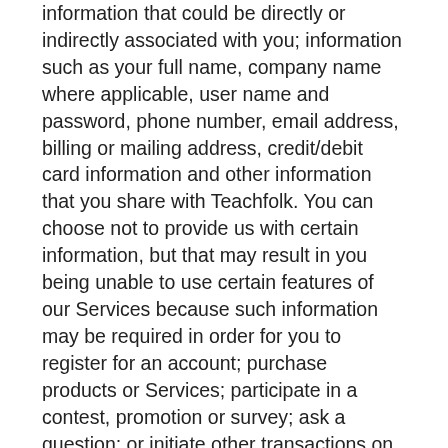information that could be directly or indirectly associated with you; information such as your full name, company name where applicable, user name and password, phone number, email address, billing or mailing address, credit/debit card information and other information that you share with Teachfolk. You can choose not to provide us with certain information, but that may result in you being unable to use certain features of our Services because such information may be required in order for you to register for an account; purchase products or Services; participate in a contest, promotion or survey; ask a question; or initiate other transactions on our website.
Payment Information: For the purposes of billing Teachfolk subscription fees and Teachfolk once off enrollment fees that are